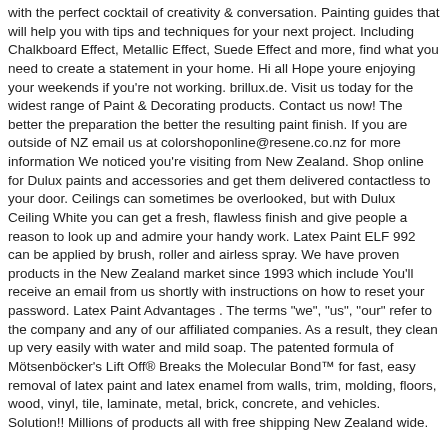with the perfect cocktail of creativity & conversation. Painting guides that will help you with tips and techniques for your next project. Including Chalkboard Effect, Metallic Effect, Suede Effect and more, find what you need to create a statement in your home. Hi all Hope youre enjoying your weekends if you're not working. brillux.de. Visit us today for the widest range of Paint & Decorating products. Contact us now! The better the preparation the better the resulting paint finish. If you are outside of NZ email us at colorshoponline@resene.co.nz for more information We noticed you're visiting from New Zealand. Shop online for Dulux paints and accessories and get them delivered contactless to your door. Ceilings can sometimes be overlooked, but with Dulux Ceiling White you can get a fresh, flawless finish and give people a reason to look up and admire your handy work. Latex Paint ELF 992 can be applied by brush, roller and airless spray. We have proven products in the New Zealand market since 1993 which include You'll receive an email from us shortly with instructions on how to reset your password. Latex Paint Advantages . The terms "we", "us", "our" refer to the company and any of our affiliated companies. As a result, they clean up very easily with water and mild soap. The patented formula of Mötsenböcker's Lift Off® Breaks the Molecular Bond™ for fast, easy removal of latex paint and latex enamel from walls, trim, molding, floors, wood, vinyl, tile, laminate, metal, brick, concrete, and vehicles. Solution!! Millions of products all with free shipping New Zealand wide.